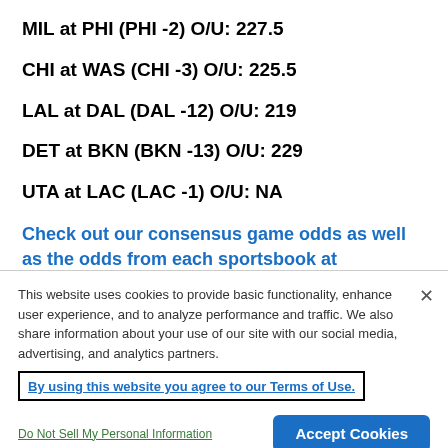MIL at PHI (PHI -2) O/U: 227.5
CHI at WAS (CHI -3) O/U: 225.5
LAL at DAL (DAL -12) O/U: 219
DET at BKN (BKN -13) O/U: 229
UTA at LAC (LAC -1) O/U: NA
Check out our consensus game odds as well as the odds from each sportsbook at BettingPros >>
This website uses cookies to provide basic functionality, enhance user experience, and to analyze performance and traffic. We also share information about your use of our site with our social media, advertising, and analytics partners.
By using this website you agree to our Terms of Use.
Do Not Sell My Personal Information
Accept Cookies